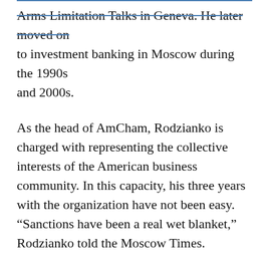Arms Limitation Talks in Geneva. He later moved on to investment banking in Moscow during the 1990s and 2000s.
As the head of AmCham, Rodzianko is charged with representing the collective interests of the American business community. In this capacity, his three years with the organization have not been easy. “Sanctions have been a real wet blanket,” Rodzianko told the Moscow Times.
Complaining to the Obama administration would have been counterproductive because Washington would just pass it off as evidence sanctions were working, Rodzianko says.